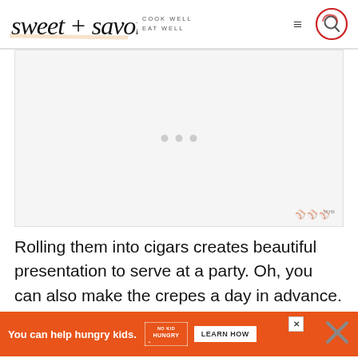sweet + savory — COOK WELL EAT WELL
[Figure (screenshot): Advertisement placeholder area with three grey dots centered, and a Moat measurement logo in bottom right corner]
Rolling them into cigars creates beautiful presentation to serve at a party. Oh, you can also make the crepes a day in advance. When rea...
[Figure (screenshot): Orange advertisement banner: 'You can help hungry kids.' with No Kid Hungry logo and LEARN HOW button. Has a close X button.]